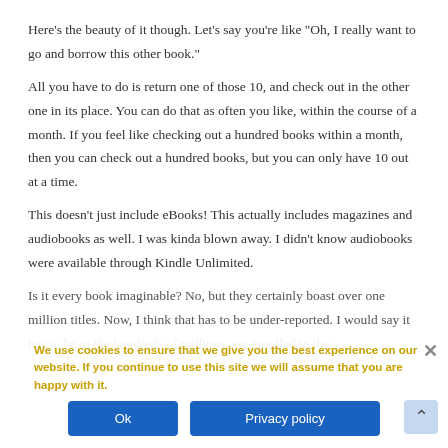Here’s the beauty of it though. Let’s say you’re like “Oh, I really want to go and borrow this other book.”
All you have to do is return one of those 10, and check out in the other one in its place. You can do that as often you like, within the course of a month. If you feel like checking out a hundred books within a month, then you can check out a hundred books, but you can only have 10 out at a time.
This doesn’t just include eBooks! This actually includes magazines and audiobooks as well. I was kinda blown away. I didn’t know audiobooks were available through Kindle Unlimited.
Is it every book imaginable? No, but they certainly boast over one million titles. Now, I think that has to be under-reported. I would say it has to be in the hundreds of millions, are enrolled in the…
We use cookies to ensure that we give you the best experience on our website. If you continue to use this site we will assume that you are happy with it.